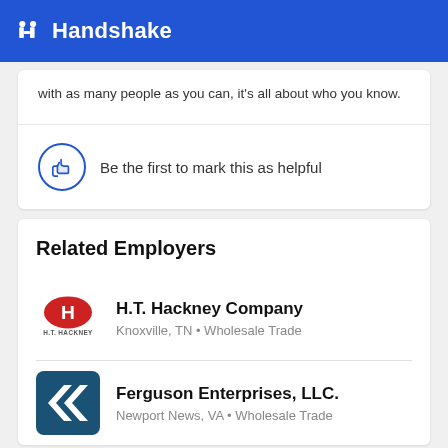Handshake
with as many people as you can, it's all about who you know.
Be the first to mark this as helpful
Related Employers
H.T. Hackney Company
Knoxville, TN • Wholesale Trade
Ferguson Enterprises, LLC.
Newport News, VA • Wholesale Trade